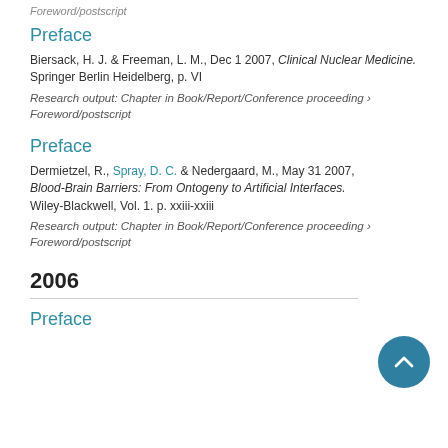Foreword/postscript
Preface
Biersack, H. J. & Freeman, L. M., Dec 1 2007, Clinical Nuclear Medicine. Springer Berlin Heidelberg, p. VI
Research output: Chapter in Book/Report/Conference proceeding › Foreword/postscript
Preface
Dermietzel, R., Spray, D. C. & Nedergaard, M., May 31 2007, Blood-Brain Barriers: From Ontogeny to Artificial Interfaces. Wiley-Blackwell, Vol. 1. p. xxiii-xxiii
Research output: Chapter in Book/Report/Conference proceeding › Foreword/postscript
2006
Preface